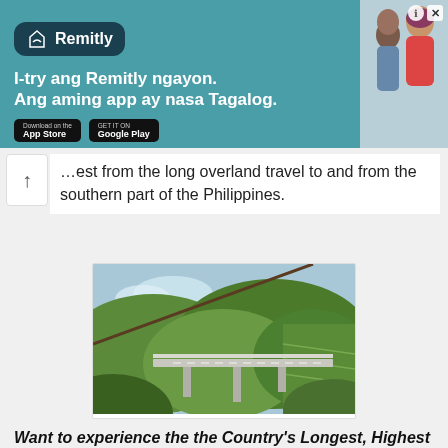[Figure (other): Remitly advertisement banner with teal background, Remitly logo, text 'I-try ang Remitly ngayon. Ang aming app ay nasa Tagalog.' with App Store and Google Play buttons, and photo of two people]
…est from the long overland travel to and from the southern part of the Philippines.
[Figure (photo): Aerial view of an elevated highway viaduct winding through lush green mountain hills in the Philippines, with a cable or zip line visible in the foreground]
Want to experience the the Country's Longest, Highest and Steepest Dual Zip Line? Read our zip line experience HERE